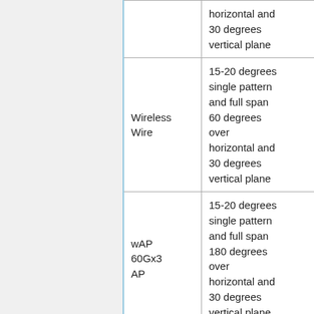|  |  | horizontal and 30 degrees vertical plane |  |  |
|  | Wireless Wire | 15-20 degrees single pattern and full span 60 degrees over horizontal and 30 degrees vertical plane | < 40 dBm |  |
|  | wAP 60Gx3 AP | 15-20 degrees single pattern and full span 180 degrees over horizontal and 30 degrees vertical plane | < 40 dBm |  |
|  |  | 15-20 degrees single pattern and full span |  |  |